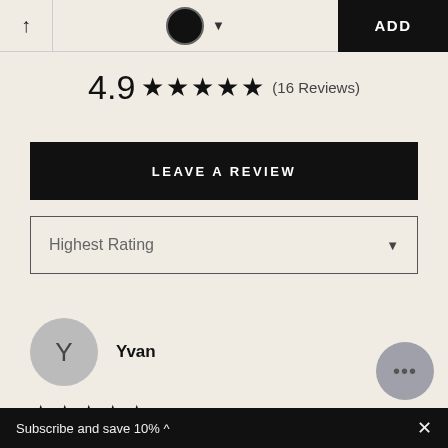↑  [circle icon] ▾  ADD
4.9 ★★★★★ (16 Reviews)
LEAVE A REVIEW
Highest Rating ▾
Y  Yvan
★★★★★
Subscribe and save 10% ^
Subscribe and save 10% ^  ×